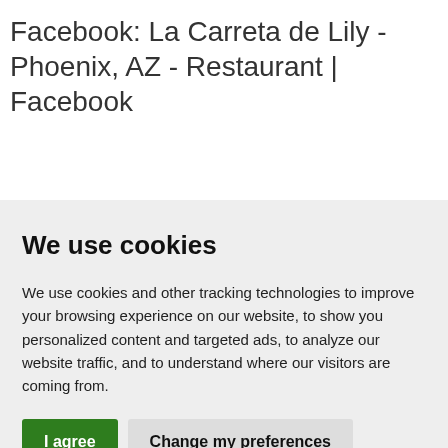Facebook: La Carreta de Lily - Phoenix, AZ - Restaurant | Facebook
We use cookies
We use cookies and other tracking technologies to improve your browsing experience on our website, to show you personalized content and targeted ads, to analyze our website traffic, and to understand where our visitors are coming from.
I agree | Change my preferences